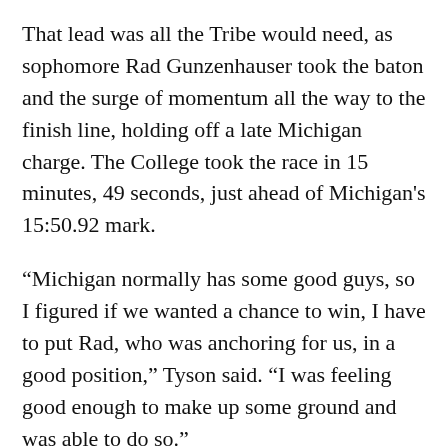That lead was all the Tribe would need, as sophomore Rad Gunzenhauser took the baton and the surge of momentum all the way to the finish line, holding off a late Michigan charge. The College took the race in 15 minutes, 49 seconds, just ahead of Michigan's 15:50.92 mark.
“Michigan normally has some good guys, so I figured if we wanted a chance to win, I have to put Rad, who was anchoring for us, in a good position,” Tyson said. “I was feeling good enough to make up some ground and was able to do so.”
Director of track and field Stephen Walsh was also impressed with Tyson’s finish, and noted the difficulty of the event.
“[Tyson] ran 44 seconds before his last 200...